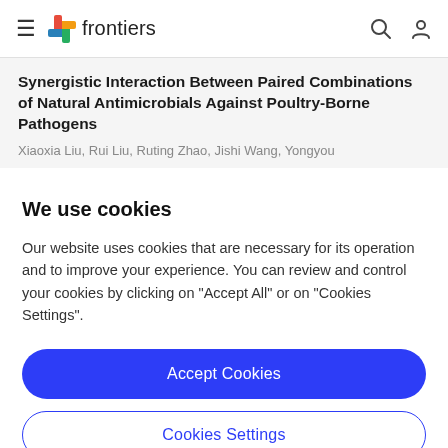frontiers
Synergistic Interaction Between Paired Combinations of Natural Antimicrobials Against Poultry-Borne Pathogens
Xiaoxia Liu, Rui Liu, Ruting Zhao, Jishi Wang, Yongyou
We use cookies
Our website uses cookies that are necessary for its operation and to improve your experience. You can review and control your cookies by clicking on "Accept All" or on "Cookies Settings".
Accept Cookies
Cookies Settings